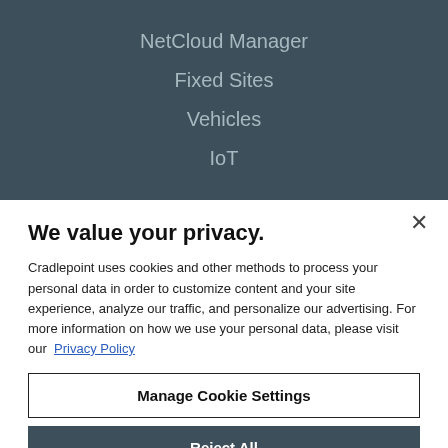NetCloud Manager
Fixed Sites
Vehicles
IoT
We value your privacy.
Cradlepoint uses cookies and other methods to process your personal data in order to customize content and your site experience, analyze our traffic, and personalize our advertising. For more information on how we use your personal data, please visit our  Privacy Policy
Manage Cookie Settings
Reject All